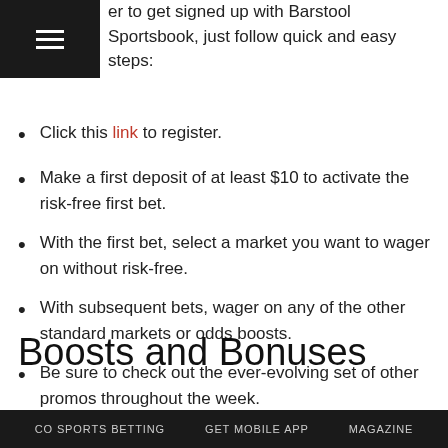er to get signed up with Barstool Sportsbook, just follow quick and easy steps:
Click this link to register.
Make a first deposit of at least $10 to activate the risk-free first bet.
With the first bet, select a market you want to wager on without risk-free.
With subsequent bets, wager on any of the other standard markets or odds boosts.
Be sure to check out the ever-evolving set of other promos throughout the week.
Boosts and Bonuses
The most notable additional special is a hoodie giveaway on the
CO SPORTS BETTING   GET MOBILE APP   MAGAZINE